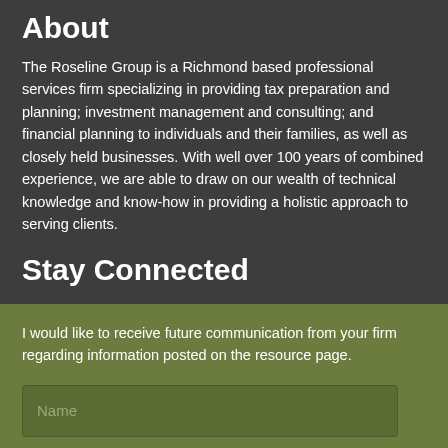About
The Roseline Group is a Richmond based professional services firm specializing in providing tax preparation and planning; investment management and consulting; and financial planning to individuals and their families, as well as closely held businesses. With well over 100 years of combined experience, we are able to draw on our wealth of technical knowledge and know-how in providing a holistic approach to serving clients.
Stay Connected
I would like to receive future communication from your firm regarding information posted on the resource page.